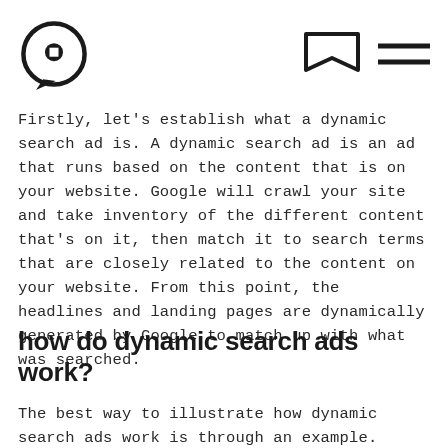[logo] [bookmark icon] [menu icon]
Firstly, let's establish what a dynamic search ad is. A dynamic search ad is an ad that runs based on the content that is on your website. Google will crawl your site and take inventory of the different content that's on it, then match it to search terms that are closely related to the content on your website. From this point, the headlines and landing pages are dynamically generated by Google to match up with what was searched.
how do dynamic search ads work?
The best way to illustrate how dynamic search ads work is through an example. Let's